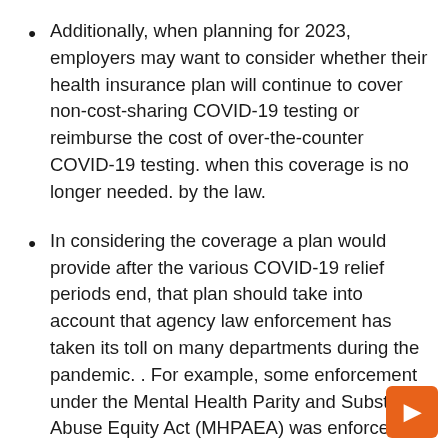Additionally, when planning for 2023, employers may want to consider whether their health insurance plan will continue to cover non-cost-sharing COVID-19 testing or reimburse the cost of over-the-counter COVID-19 testing. when this coverage is no longer needed. by the law.
In considering the coverage a plan would provide after the various COVID-19 relief periods end, that plan should take into account that agency law enforcement has taken its toll on many departments during the pandemic. . For example, some enforcement under the Mental Health Parity and Substance Abuse Equity Act (MHPAEA) was enforced during the pandemic if a plan covered testing items